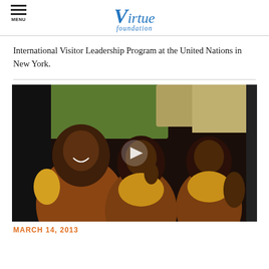MENU | Virtue Foundation
International Visitor Leadership Program at the United Nations in New York.
[Figure (photo): Three smiling African schoolgirls in brown and yellow uniforms seated inside a vehicle, with a video play button overlay in the center of the image.]
MARCH 14, 2013